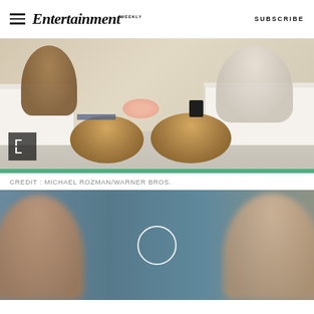Entertainment Weekly — SUBSCRIBE
[Figure (photo): TV talk show set with white sofas, wooden stump coffee tables, pink flowers, and a dark mug. Guests and host seated. Expand icon in lower left corner. Green accent bar at bottom.]
CREDIT: MICHAEL ROZMAN/WARNER BROS.
[Figure (photo): Blurred video still from a TV show with two people visible and a circular play button overlay in the center.]